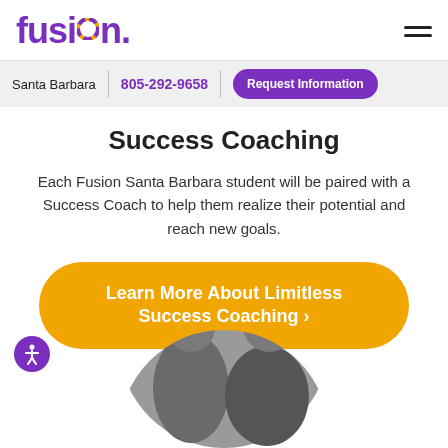fusion
Santa Barbara | 805-292-9658 | Request Information
Success Coaching
Each Fusion Santa Barbara student will be paired with a Success Coach to help them realize their potential and reach new goals.
Learn More About Limitless Success Coaching ›
[Figure (photo): Circular cropped photo showing two people, partially visible from the bottom of the page]